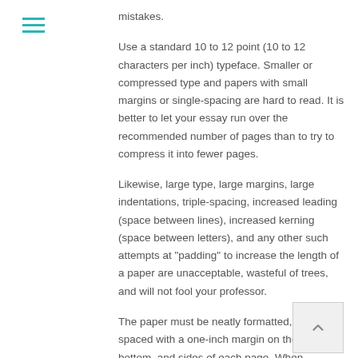mistakes.
Use a standard 10 to 12 point (10 to 12 characters per inch) typeface. Smaller or compressed type and papers with small margins or single-spacing are hard to read. It is better to let your essay run over the recommended number of pages than to try to compress it into fewer pages.
Likewise, large type, large margins, large indentations, triple-spacing, increased leading (space between lines), increased kerning (space between letters), and any other such attempts at "padding" to increase the length of a paper are unacceptable, wasteful of trees, and will not fool your professor.
The paper must be neatly formatted, double-spaced with a one-inch margin on the top, bottom, and sides of each page. When